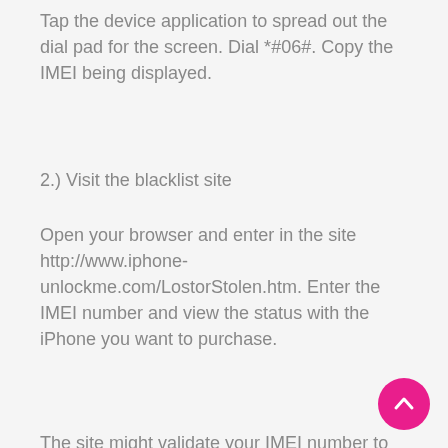Tap the device application to spread out the dial pad for the screen. Dial *#06#. Copy the IMEI being displayed.
2.) Visit the blacklist site
Open your browser and enter in the site http://www.iphone-unlockme.com/LostorStolen.htm. Enter the IMEI number and view the status with the iPhone you want to purchase.
The site might validate your IMEI number to check to find out if the iPhone is stolen. A report are able to be given as on the status and result with the IMEI check.
If the Status indicates “Available” then you can definitely then rest your thoughts at ease since the